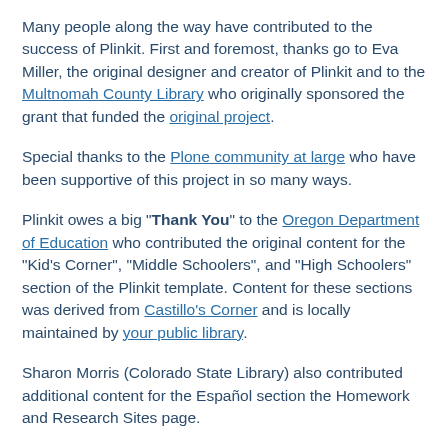Many people along the way have contributed to the success of Plinkit. First and foremost, thanks go to Eva Miller, the original designer and creator of Plinkit and to the Multnomah County Library who originally sponsored the grant that funded the original project.
Special thanks to the Plone community at large who have been supportive of this project in so many ways.
Plinkit owes a big "Thank You" to the Oregon Department of Education who contributed the original content for the "Kid's Corner", "Middle Schoolers", and "High Schoolers" section of the Plinkit template. Content for these sections was derived from Castillo's Corner and is locally maintained by your public library.
Sharon Morris (Colorado State Library) also contributed additional content for the Español section the Homework and Research Sites page.
Geir Bækholt of Plone Solutions contributed a Plone-friendly version of the "library use value calculator" based on the version from the Maine State Library.